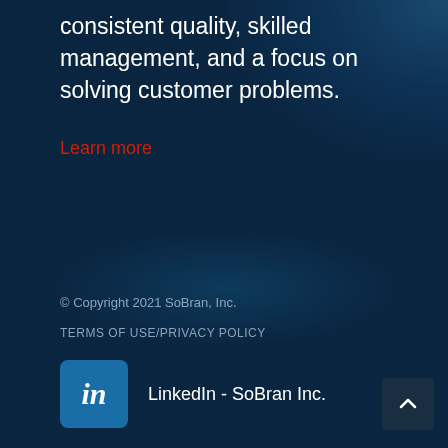consistent quality, skilled management, and a focus on solving customer problems.
Learn more
© Copyright 2021 SoBran, Inc.
TERMS OF USE/PRIVACY POLICY
LinkedIn - SoBran Inc.